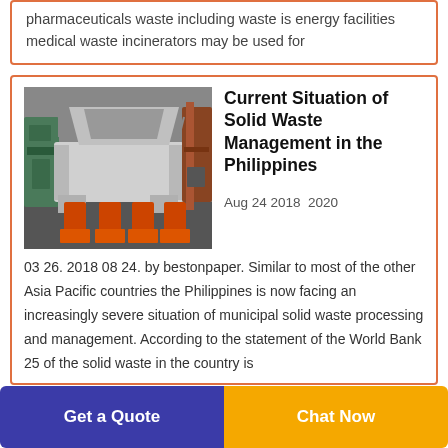pharmaceuticals waste including waste is energy facilities medical waste incinerators may be used for
[Figure (photo): Industrial waste processing/shredding machine with orange legs on a factory floor, with machinery in background]
Current Situation of Solid Waste Management in the Philippines
Aug 24 2018  2020
03 26. 2018 08 24. by bestonpaper. Similar to most of the other Asia Pacific countries the Philippines is now facing an increasingly severe situation of municipal solid waste processing and management. According to the statement of the World Bank 25 of the solid waste in the country is
Get a Quote
Chat Now